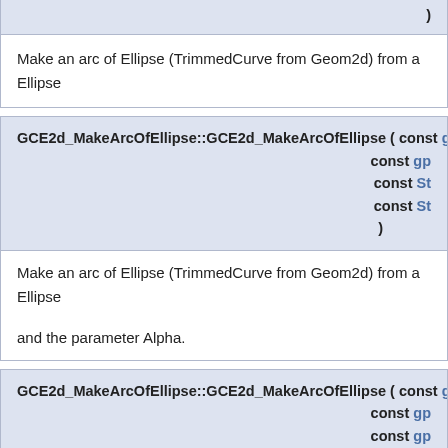)
Make an arc of Ellipse (TrimmedCurve from Geom2d) from a Ellipse
GCE2d_MakeArcOfEllipse::GCE2d_MakeArcOfEllipse ( const gp_
const gp_
const St
const St
)
Make an arc of Ellipse (TrimmedCurve from Geom2d) from a Ellipse

and the parameter Alpha.
GCE2d_MakeArcOfEllipse::GCE2d_MakeArcOfEllipse ( const gp_
const gp_
const gp_